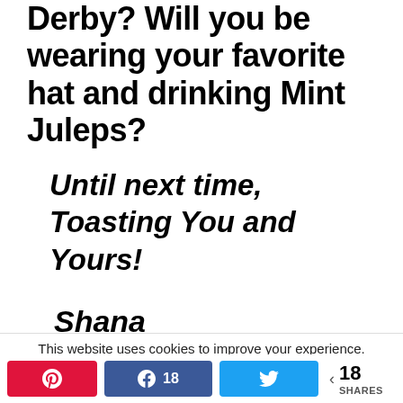Derby?  Will you be wearing your favorite hat and drinking Mint Juleps?
Until next time,  Toasting You and Yours!
Shana
This website uses cookies to improve your experience.
We'll assume you're ok with this, but you can opt-out if you
18 SHARES